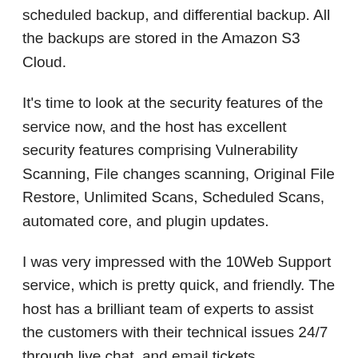scheduled backup, and differential backup. All the backups are stored in the Amazon S3 Cloud.
It's time to look at the security features of the service now, and the host has excellent security features comprising Vulnerability Scanning, File changes scanning, Original File Restore, Unlimited Scans, Scheduled Scans, automated core, and plugin updates.
I was very impressed with the 10Web Support service, which is pretty quick, and friendly. The host has a brilliant team of experts to assist the customers with their technical issues 24/7 through live chat, and email tickets.